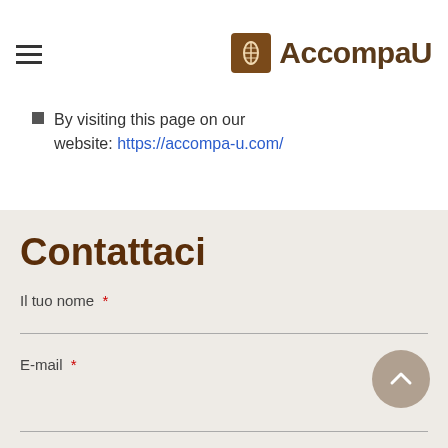AccompaU
By visiting this page on our website: https://accompa-u.com/
Contattaci
Il tuo nome *
E-mail *